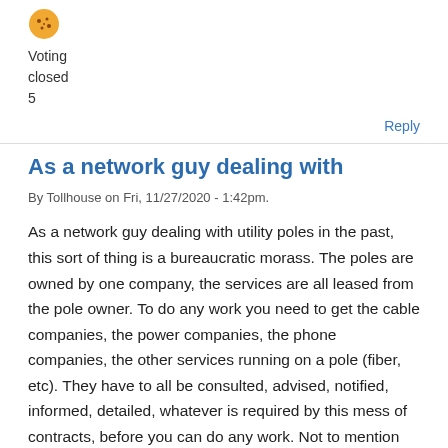[Figure (illustration): Small emoji/avatar icon of a cookie or snack]
Voting
closed
5
Reply
As a network guy dealing with
By Tollhouse on Fri, 11/27/2020 - 1:42pm.
As a network guy dealing with utility poles in the past, this sort of thing is a bureaucratic morass. The poles are owned by one company, the services are all leased from the pole owner. To do any work you need to get the cable companies, the power companies, the phone companies, the other services running on a pole (fiber, etc). They have to all be consulted, advised, notified, informed, detailed, whatever is required by this mess of contracts, before you can do any work. Not to mention the hundreds or thousands of customers that absolutely refuse to be without power/cable/phone